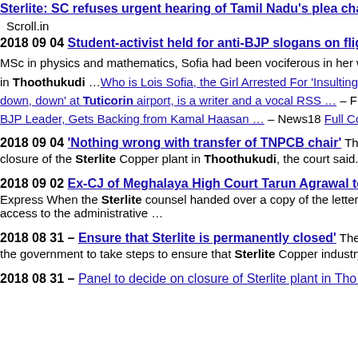Sterlite: SC refuses urgent hearing of Tamil Nadu's plea challenging…
Scroll.in
2018 09 04 Student-activist held for anti-BJP slogans on flight a…
MSc in physics and mathematics, Sofia had been vociferous in her writings and social… in Thoothukudi …Who is Lois Sofia, the Girl Arrested For 'Insulting' the BJP – The… down, down' at Tuticorin airport, is a writer and a vocal RSS … – Firstpost TN Wo… BJP Leader, Gets Backing from Kamal Haasan … – News18 Full Coverage
2018 09 04 'Nothing wrong with transfer of TNPCB chair' The H… closure of the Sterlite Copper plant in Thoothukudi, the court said. Mr. Nasimuddin…
2018 09 02 Ex-CJ of Meghalaya High Court Tarun Agrawal to b… Express When the Sterlite counsel handed over a copy of the letter dated August 29 a… access to the administrative …
2018 08 31 – Ensure that Sterlite is permanently closed' The Hind… the government to take steps to ensure that Sterlite Copper industry remained closed.
2018 08 31 – Panel to decide on closure of Sterlite plant in Tho…